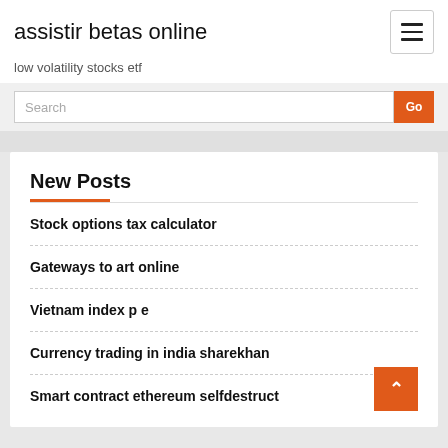assistir betas online
low volatility stocks etf
New Posts
Stock options tax calculator
Gateways to art online
Vietnam index p e
Currency trading in india sharekhan
Smart contract ethereum selfdestruct